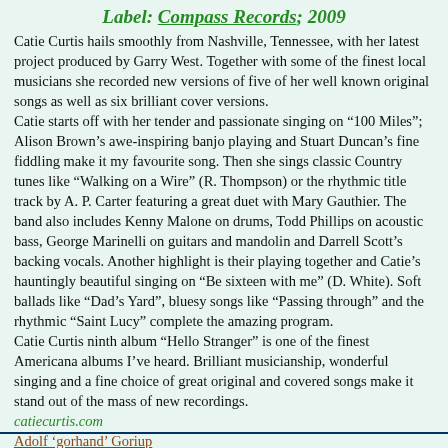Label: Compass Records; 2009
Catie Curtis hails smoothly from Nashville, Tennessee, with her latest project produced by Garry West. Together with some of the finest local musicians she recorded new versions of five of her well known original songs as well as six brilliant cover versions. Catie starts off with her tender and passionate singing on “100 Miles”; Alison Brown’s awe-inspiring banjo playing and Stuart Duncan’s fine fiddling make it my favourite song. Then she sings classic Country tunes like “Walking on a Wire” (R. Thompson) or the rhythmic title track by A. P. Carter featuring a great duet with Mary Gauthier. The band also includes Kenny Malone on drums, Todd Phillips on acoustic bass, George Marinelli on guitars and mandolin and Darrell Scott’s backing vocals. Another highlight is their playing together and Catie’s hauntingly beautiful singing on “Be sixteen with me” (D. White). Soft ballads like “Dad’s Yard”, bluesy songs like “Passing through” and the rhythmic “Saint Lucy” complete the amazing program. Catie Curtis ninth album “Hello Stranger” is one of the finest Americana albums I’ve heard. Brilliant musicianship, wonderful singing and a fine choice of great original and covered songs make it stand out of the mass of new recordings.
catiecurtis.com
Adolf 'gorhand' Goriup